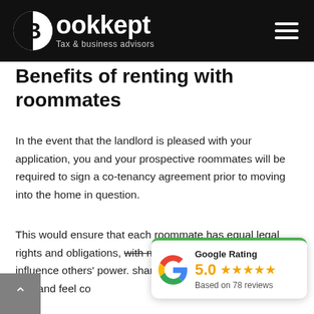Bookkept — Tax & business advisors
Benefits of renting with roommates
In the event that the landlord is pleased with your application, you and your prospective roommates will be required to sign a co-tenancy agreement prior to moving into the home in question.
This would ensure that each roommate has equal legal rights and obligations, with no co-tenant authorised to influence others' power. share housing with a var familiar with and feel co
[Figure (other): Google Rating widget showing 5.0 stars based on 78 reviews, with Google G logo]